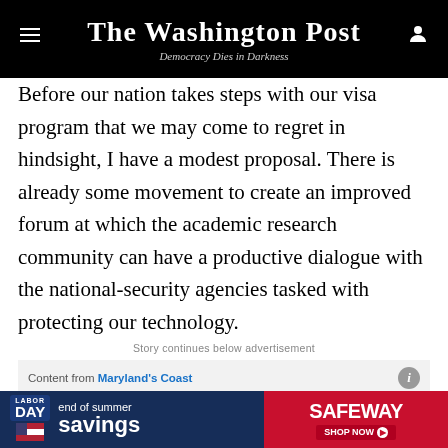The Washington Post — Democracy Dies in Darkness
Before our nation takes steps with our visa program that we may come to regret in hindsight, I have a modest proposal. There is already some movement to create an improved forum at which the academic research community can have a productive dialogue with the national-security agencies tasked with protecting our technology.
Story continues below advertisement
Content from Maryland's Coast
[Figure (photo): Black advertisement image block for Maryland's Coast]
[Figure (photo): Safeway Labor Day end of summer savings banner advertisement]